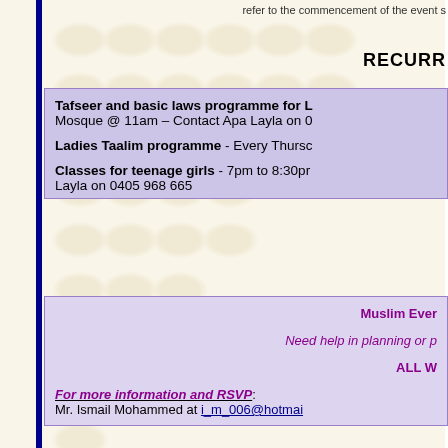refer to the commencement of the event s
RECURR
Tafseer and basic laws programme for L Mosque @ 11am – Contact Apa Layla on 0
Ladies Taalim programme - Every Thursc
Classes for teenage girls - 7pm to 8:30pm Layla on 0405 968 665
Muslim Ever
Need help in planning or p
ALL W
For more information and RSVP: Mr. Ismail Mohammed at i_m_006@hotmai
Queensland Police Service/Mus
VENUE: Metropolitan South Regional Offic
Commencing at 5.00pm
(Times may change throughout the year pe